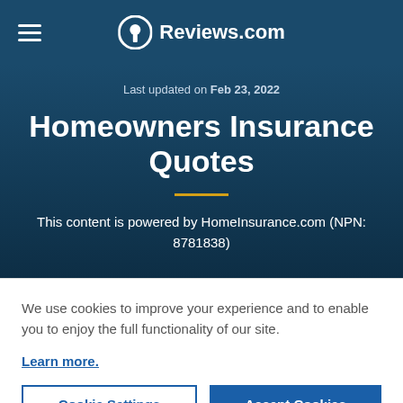Reviews.com
Last updated on Feb 23, 2022
Homeowners Insurance Quotes
This content is powered by HomeInsurance.com (NPN: 8781838)
We use cookies to improve your experience and to enable you to enjoy the full functionality of our site.
Learn more.
Cookie Settings
Accept Cookies